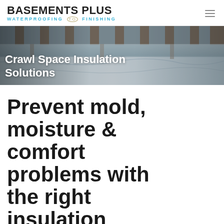BASEMENTS PLUS WATERPROOFING TO FINISHING
[Figure (photo): Crawl space interior showing plastic vapor barrier sheeting and wooden floor joists above, in a dim encapsulated crawl space environment.]
Crawl Space Insulation Solutions
Prevent mold, moisture & comfort problems with the right insulation